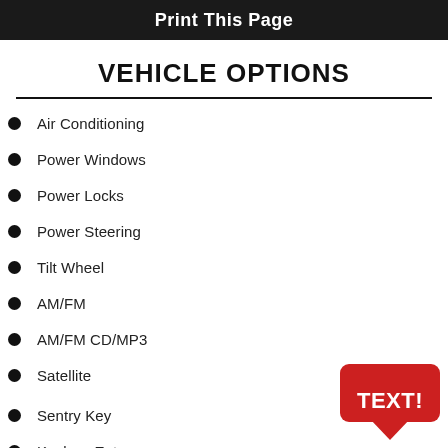Print This Page
VEHICLE OPTIONS
Air Conditioning
Power Windows
Power Locks
Power Steering
Tilt Wheel
AM/FM
AM/FM CD/MP3
Satellite
Sentry Key
Keyless Entry
[Figure (other): Red speech bubble with white bold text saying TEXT!]